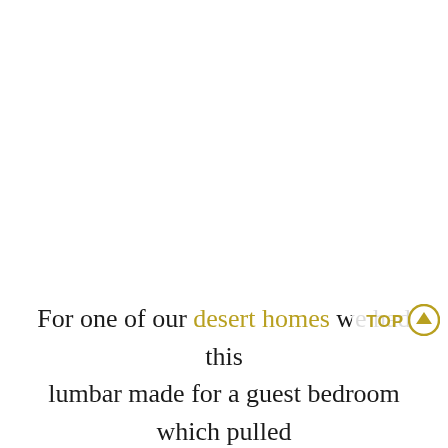For one of our desert homes we had this lumbar made for a guest bedroom which pulled in the pretty pinks of the ottomans and just really finished this bed nicely. For a closer look at